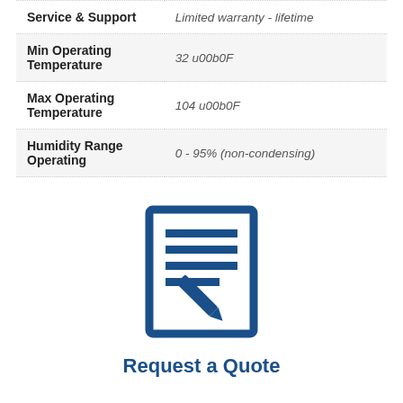| Property | Value |
| --- | --- |
| Service & Support | Limited warranty - lifetime |
| Min Operating Temperature | 32 u00b0F |
| Max Operating Temperature | 104 u00b0F |
| Humidity Range Operating | 0 - 95% (non-condensing) |
[Figure (illustration): Document with lines of text and a pencil/pen icon, representing a request a quote form]
Request a Quote